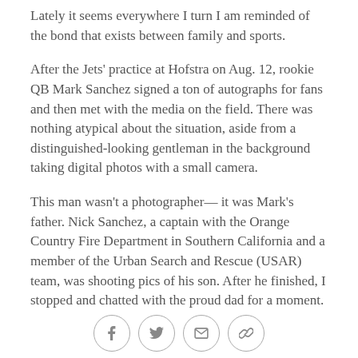Lately it seems everywhere I turn I am reminded of the bond that exists between family and sports.
After the Jets' practice at Hofstra on Aug. 12, rookie QB Mark Sanchez signed a ton of autographs for fans and then met with the media on the field. There was nothing atypical about the situation, aside from a distinguished-looking gentleman in the background taking digital photos with a small camera.
This man wasn't a photographer— it was Mark's father. Nick Sanchez, a captain with the Orange Country Fire Department in Southern California and a member of the Urban Search and Rescue (USAR) team, was shooting pics of his son. After he finished, I stopped and chatted with the proud dad for a moment.
[Figure (infographic): Social sharing icons: Facebook, Twitter, Email, Link/chain]